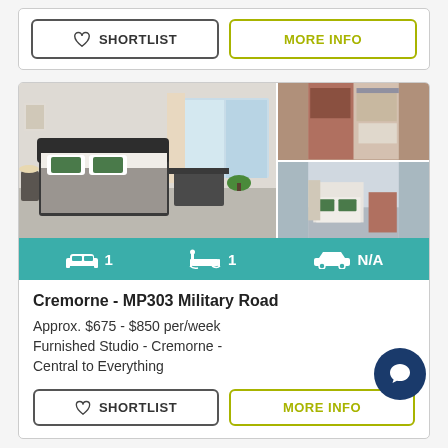[Figure (other): SHORTLIST and MORE INFO buttons at top of page]
[Figure (photo): Property photos of Cremorne MP303 Military Road - furnished studio bedroom, kitchenette, and living area]
1 bed  1 bath  N/A parking
Cremorne - MP303 Military Road
Approx. $675 - $850 per/week
Furnished Studio - Cremorne -
Central to Everything
[Figure (other): SHORTLIST and MORE INFO buttons at bottom of listing card]